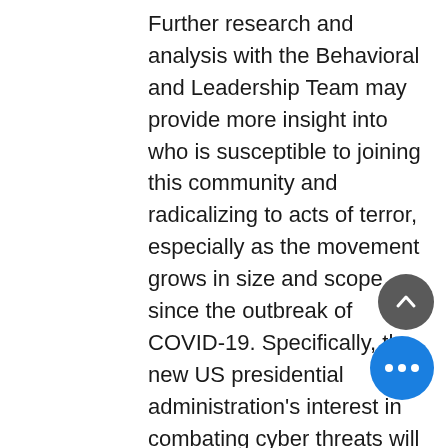Further research and analysis with the Behavioral and Leadership Team may provide more insight into who is susceptible to joining this community and radicalizing to acts of terror, especially as the movement grows in size and scope since the outbreak of COVID-19. Specifically, the new US presidential administration's interest in combating cyber threats will likely increase monitoring of individuals and these incel groups, assisting in defeating this threat. Law enforcement should attempt to infiltrate the online community to identify incels who are likely to commit violence and stop them from carrying out any more attacks. CTG Extremism Team will continue to monitor the incel community online, as